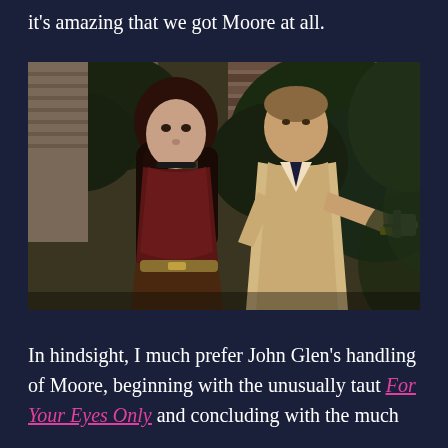it's amazing that we got Moore at all.
[Figure (photo): A woman with long dark red hair in a dark red top and patterned skirt stands beside a man in a beige suit who is aiming a revolver toward the camera, with brick wall and tropical foliage in the background. This appears to be a still from a James Bond film with Roger Moore.]
In hindsight, I much prefer John Glen's handling of Moore, beginning with the unusually taut For Your Eyes Only and concluding with the much